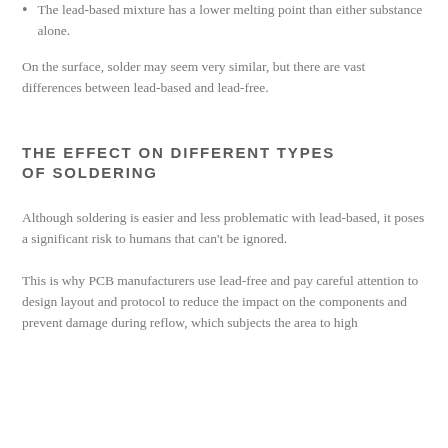The lead-based mixture has a lower melting point than either substance alone.
On the surface, solder may seem very similar, but there are vast differences between lead-based and lead-free.
THE EFFECT ON DIFFERENT TYPES OF SOLDERING
Although soldering is easier and less problematic with lead-based, it poses a significant risk to humans that can't be ignored.
This is why PCB manufacturers use lead-free and pay careful attention to design layout and protocol to reduce the impact on the components and prevent damage during reflow, which subjects the area to high